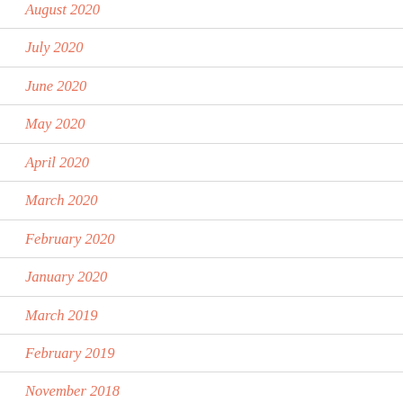August 2020
July 2020
June 2020
May 2020
April 2020
March 2020
February 2020
January 2020
March 2019
February 2019
November 2018